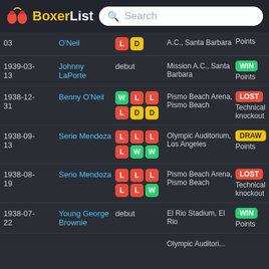BoxerList
| Date | Opponent | Record | Venue | Result |
| --- | --- | --- | --- | --- |
| 03 | O'Neil | L D | A.C., Santa Barbara | Points |
| 1939-03-13 | Johnny LaPorte | debut | Mission A.C., Santa Barbara | WIN Points |
| 1938-12-31 | Benny O'Neil | W L L L D D | Pismo Beach Arena, Pismo Beach | LOST Technical knockout |
| 1938-09-13 | Serio Mendoza | L L L L W W | Olympic Auditorium, Los Angeles | DRAW Points |
| 1938-08-19 | Serio Mendoza | L L L L L W | Pismo Beach Arena, Pismo Beach | LOST Technical knockout |
| 1938-07-22 | Young George Brownie | debut | El Rio Stadium, El Rio | WIN Points |